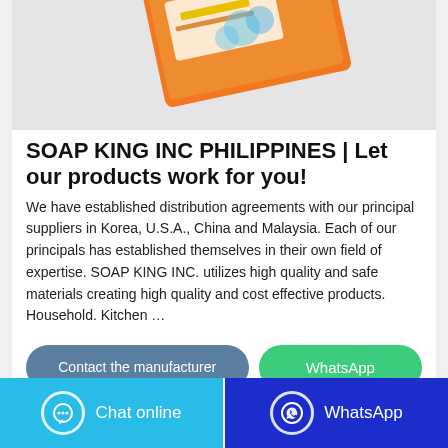[Figure (photo): Product photo of a soap/cleaning product box with orange and white packaging on a light grey background, partially cropped at top.]
SOAP KING INC PHILIPPINES | Let our products work for you!
We have established distribution agreements with our principal suppliers in Korea, U.S.A., China and Malaysia. Each of our principals has established themselves in their own field of expertise. SOAP KING INC. utilizes high quality and safe materials creating high quality and cost effective products. Household. Kitchen …
Contact the manufacturer
WhatsApp
Chat online
WhatsApp